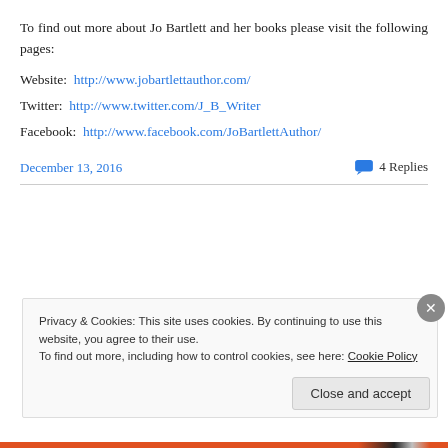To find out more about Jo Bartlett and her books please visit the following pages:
Website:  http://www.jobartlettauthor.com/
Twitter:  http://www.twitter.com/J_B_Writer
Facebook:  http://www.facebook.com/JoBartlettAuthor/
December 13, 2016   4 Replies
Privacy & Cookies: This site uses cookies. By continuing to use this website, you agree to their use. To find out more, including how to control cookies, see here: Cookie Policy
Close and accept